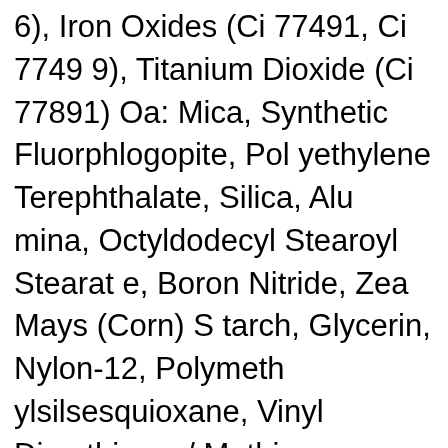6), Iron Oxides (Ci 77491, Ci 77499), Titanium Dioxide (Ci 77891) Oa: Mica, Synthetic Fluorphlogopite, Polyethylene Terephthalate, Silica, Alumina, Octyldodecyl Stearoyl Stearate, Boron Nitride, Zea Mays (Corn) Starch, Glycerin, Nylon-12, Polymethylsilsesquioxane, Vinyl Dimethicone/Methicone Silsesquioxane Crosspolymer, Zinc Myristate, Zinc Stearate, Mineral Oil/Paraffinum Liquidum/Huile Minerale, Theobroma Cacao (Cocoa) Seed Butter, Tocopherol, Beeswax/Cera Alba/Cire D'abeille, Hydrogenated Lecithin, Isopentyldiol, Lauroyl Lysine, Caprylyl Glycol, Sodium Polyacrylate, Tin Oxide, Phenoxyetha